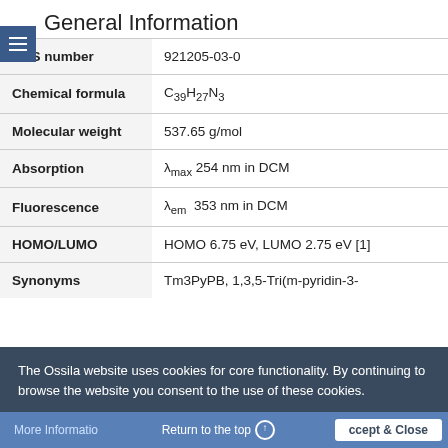General Information
| CAS number | 921205-03-0 |
| Chemical formula | C39H27N3 |
| Molecular weight | 537.65 g/mol |
| Absorption | λmax 254 nm in DCM |
| Fluorescence | λem 353 nm in DCM |
| HOMO/LUMO | HOMO 6.75 eV, LUMO 2.75 eV [1] |
| Synonyms | Tm3PyPB, 1,3,5-Tri(m-pyridin-3- |
The Ossila website uses cookies for core functionality. By continuing to browse the website you consent to the use of these cookies.
More Information   Return to the top   Accept & Close